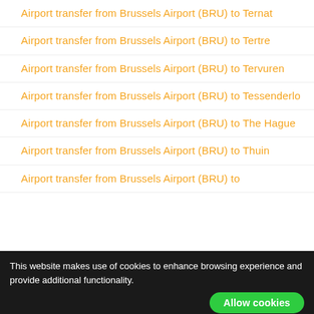Airport transfer from Brussels Airport (BRU) to Ternat
Airport transfer from Brussels Airport (BRU) to Tertre
Airport transfer from Brussels Airport (BRU) to Tervuren
Airport transfer from Brussels Airport (BRU) to Tessenderlo
Airport transfer from Brussels Airport (BRU) to The Hague
Airport transfer from Brussels Airport (BRU) to Thuin
Airport transfer from Brussels Airport (BRU) to
This website makes use of cookies to enhance browsing experience and provide additional functionality. Allow cookies